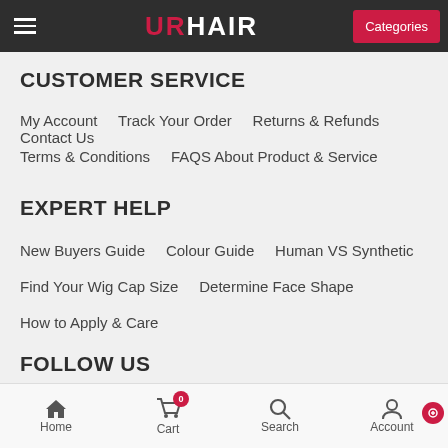URHAIR - Categories
CUSTOMER SERVICE
My Account   Track Your Order   Returns & Refunds   Contact Us
Terms & Conditions   FAQS About Product & Service
EXPERT HELP
New Buyers Guide   Colour Guide   Human VS Synthetic
Find Your Wig Cap Size   Determine Face Shape
How to Apply & Care
FOLLOW US
[Figure (logo): Social media icons: Facebook, Pinterest, Instagram, YouTube]
Home   Cart 0   Search   Account